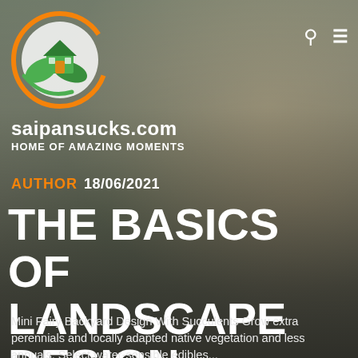[Figure (photo): Interior kitchen/dining room background photo, blurred, showing wooden chairs, table, windows with blinds, flowers, and a person standing in the background]
[Figure (logo): Circular logo with orange arc, green house icon with leaf, on white circular background. Site logo for saipansucks.com]
saipansucks.com
HOME OF AMAZING MOMENTS
AUTHOR 18/06/2021
THE BASICS OF LANDSCAPE DESIGN
Mini Fairy Backyard Design With Succulents Grow extra perennials and locally adapted native vegetation and less annuals. Select water-sensible edibles...